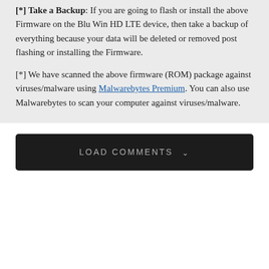[*] Take a Backup: If you are going to flash or install the above Firmware on the Blu Win HD LTE device, then take a backup of everything because your data will be deleted or removed post flashing or installing the Firmware.
[*] We have scanned the above firmware (ROM) package against viruses/malware using Malwarebytes Premium. You can also use Malwarebytes to scan your computer against viruses/malware.
LOAD COMMENTS